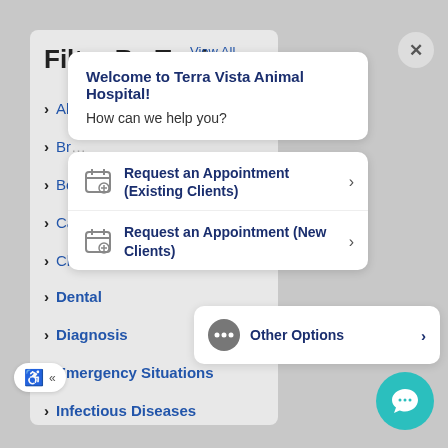Filter By Topic
View All
Al...
Br...
Bo...
Care & Wellness
Ch...
Dental
Diagnosis
Emergency Situations
Infectious Diseases
Welcome to Terra Vista Animal Hospital!
How can we help you?
Request an Appointment (Existing Clients)
Request an Appointment (New Clients)
Other Options >